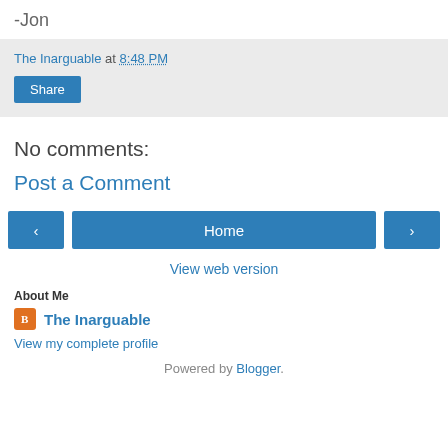-Jon
The Inarguable at 8:48 PM
Share
No comments:
Post a Comment
‹ Home ›
View web version
About Me
The Inarguable
View my complete profile
Powered by Blogger.